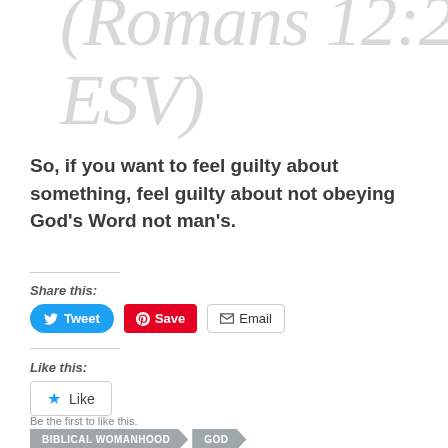(Romans 12:2 ESV)
So, if you want to feel guilty about something, feel guilty about not obeying God’s Word not man’s.
Share this:
[Figure (infographic): Row of social share buttons: Tweet (blue, Twitter bird icon), Save (red, Pinterest icon), Email (white/gray, envelope icon)]
Like this:
[Figure (infographic): Like button widget with blue star icon and text 'Like']
Be the first to like this.
BIBLICAL WOMANHOOD   GOD